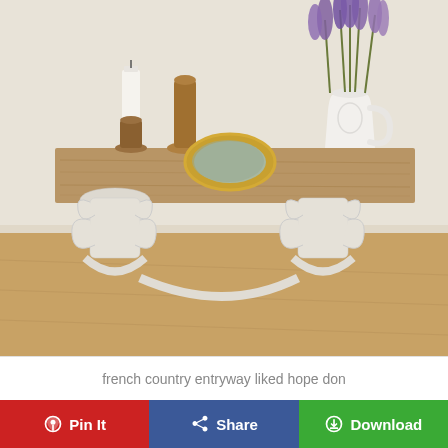[Figure (photo): A French country style console/entryway table with a rustic wood plank top and ornate white painted scrollwork legs. On top: two wooden candlesticks (one with a white candle), a small oval gold-framed mirror, and a white ceramic pitcher with purple lavender flowers. The table sits on hardwood floors against a white/cream wall.]
french country entryway liked hope don
Pin It  Share  Download